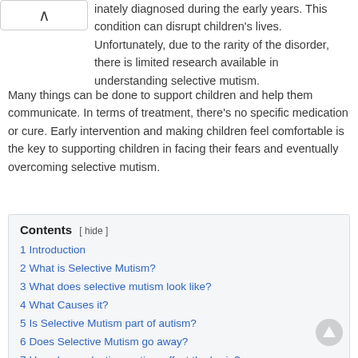inately diagnosed during the early years. This condition can disrupt children's lives. Unfortunately, due to the rarity of the disorder, there is limited research available in understanding selective mutism.
Many things can be done to support children and help them communicate. In terms of treatment, there's no specific medication or cure. Early intervention and making children feel comfortable is the key to supporting children in facing their fears and eventually overcoming selective mutism.
Contents [ hide ]
1 Introduction
2 What is Selective Mutism?
3 What does selective mutism look like?
4 What Causes it?
5 Is Selective Mutism part of autism?
6 Does Selective Mutism go away?
7 How does selective mutism affect the brain?
8 How rare is it?
9 What triggers selective mutism?